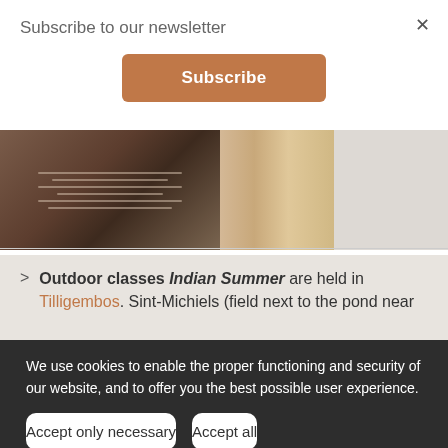Subscribe to our newsletter
Subscribe
[Figure (photo): A brown book/card cover with light text lines visible, positioned next to a wooden surface with a light grey stone background]
Outdoor classes Indian Summer are held in Tilligembos. Sint-Michiels (field next to the pond near
We use cookies to enable the proper functioning and security of our website, and to offer you the best possible user experience.
Accept only necessary
Accept all